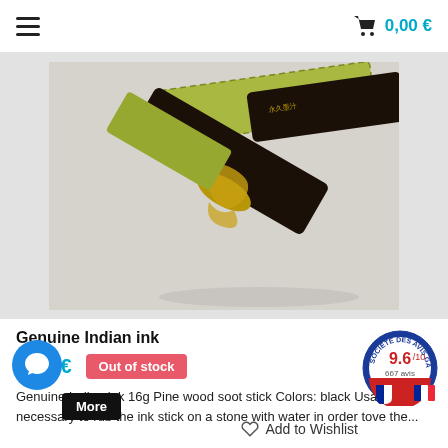0,00 €
[Figure (photo): A decorative Chinese ink stick with gold dragon motif resting on green patterned box packaging, photographed on a light grey surface.]
Genuine Indian ink
6,58 €   Out of stock
Genuine Indian ink 16g Pine wood soot stick Colors: black Usage: it is necessary to rub the ink stick on a stone with water in order to ... ive the...
More
Add to Wishlist